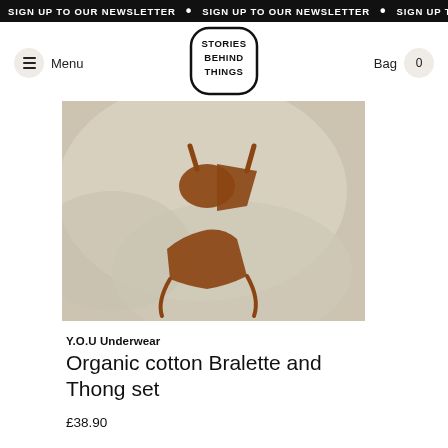SIGN UP TO OUR NEWSLETTER • SIGN UP TO OUR NEWSLETTER • SIGN UP TO OUR NEWSLETTER
Menu | Stories Behind Things | Bag 0
[Figure (photo): A rust/terracotta coloured organic cotton bralette top and thong set laid flat on a cream boucle fabric surface.]
Y.O.U Underwear
Organic cotton Bralette and Thong set
£38.90